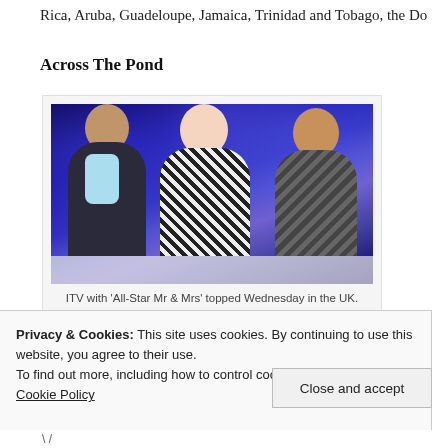Rica, Aruba, Guadeloupe, Jamaica, Trinidad and Tobago, the Do
Across The Pond
[Figure (photo): Three people posing in front of a blue-lit stage background. Left: older man in dark suit. Center: young woman in black-and-white dress. Right: young man in patterned shirt.]
ITV with 'All-Star Mr & Mrs' topped Wednesday in the UK.
Privacy & Cookies: This site uses cookies. By continuing to use this website, you agree to their use.
To find out more, including how to control cookies, see here: Our Cookie Policy
Close and accept